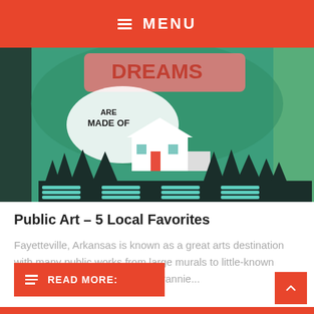MENU
[Figure (photo): A colorful public art mural on a green background with text reading 'DREAMS ARE MADE OF' and an illustrated white house surrounded by dark silhouetted pine trees. Pink/red lettering at the top. Teal horizontal stripes at the bottom.]
Public Art – 5 Local Favorites
Fayetteville, Arkansas is known as a great arts destination with many public works from large murals to little-known gems tucked in the nooks and crannie...
READ MORE: